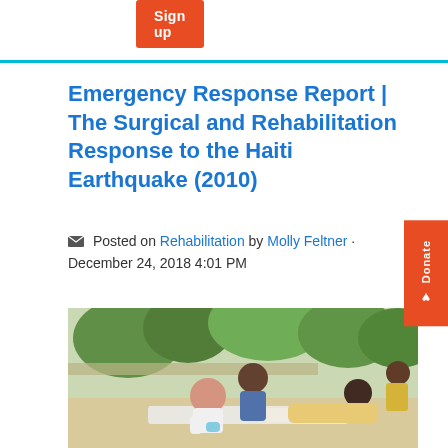Sign up
Emergency Response Report | The Surgical and Rehabilitation Response to the Haiti Earthquake (2010)
Posted on Rehabilitation by Molly Feltner · December 24, 2018 4:01 PM
[Figure (photo): Medical workers treating a patient with a leg cast in an outdoor field hospital setting during the Haiti earthquake response. Two healthcare workers, one in white and one in blue, tend to a patient lying on a cot. Other patients and bystanders are visible in the background.]